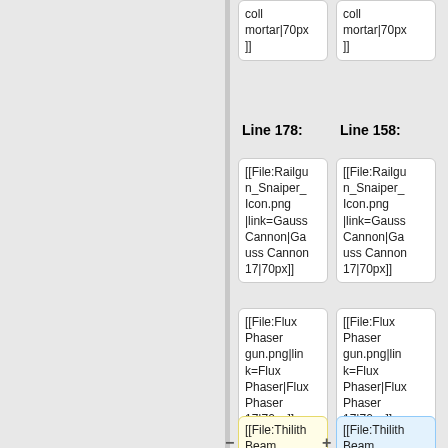coll mortar|70px]]
coll mortar|70px]]
Line 178:
Line 158:
[[File:Railgun_Snaiper_Icon.png|link=GaussCannon|Gauss Cannon 17|70px]]
[[File:Railgun_Snaiper_Icon.png|link=GaussCannon|Gauss Cannon 17|70px]]
[[File:Flux Phaser gun.png|link=Flux Phaser|Flux Phaser 17|70px]]
[[File:Flux Phaser gun.png|link=Flux Phaser|Flux Phaser 17|70px]]
[[File:Thilith Beam gun.png|link=Thi'Lith Beam|70px]
[[File:Thilith Beam gun.png|link=Thi'Lith Beam|70px]